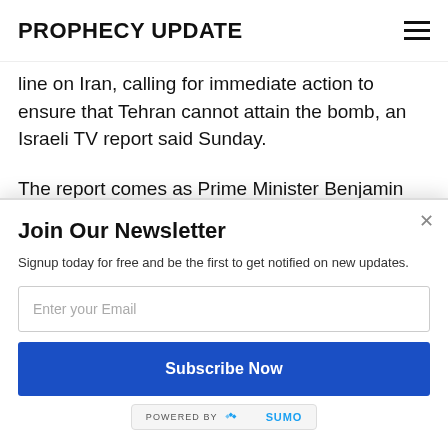PROPHECY UPDATE
line on Iran, calling for immediate action to ensure that Tehran cannot attain the bomb, an Israeli TV report said Sunday.
The report comes as Prime Minister Benjamin Netanyahu is to address the United Nations General Assembly with his focus to again be on confronting Iran.
[Figure (other): Powered by Sumo badge]
Join Our Newsletter
Signup today for free and be the first to get notified on new updates.
Enter your Email
Subscribe Now